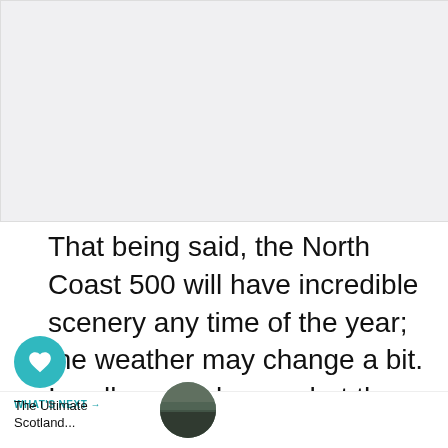[Figure (photo): Large placeholder image area at top of page, light gray background]
That being said, the North Coast 500 will have incredible scenery any time of the year; the weather may change a bit. I really never know what the Scottish Gods will hand you on your trip. We … take our trip in the middle of September in hopes of chasing the
[Figure (other): Social UI overlay: heart/like button (teal circle with heart icon), like count '4', share button]
WHAT'S NEXT → The Ultimate Scotland...